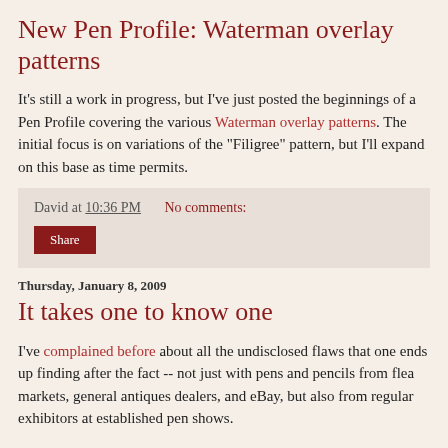New Pen Profile: Waterman overlay patterns
It's still a work in progress, but I've just posted the beginnings of a Pen Profile covering the various Waterman overlay patterns. The initial focus is on variations of the "Filigree" pattern, but I'll expand on this base as time permits.
David at 10:36 PM    No comments:
Share
Thursday, January 8, 2009
It takes one to know one
I've complained before about all the undisclosed flaws that one ends up finding after the fact -- not just with pens and pencils from flea markets, general antiques dealers, and eBay, but also from regular exhibitors at established pen shows.